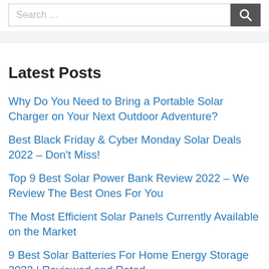Search …
Latest Posts
Why Do You Need to Bring a Portable Solar Charger on Your Next Outdoor Adventure?
Best Black Friday & Cyber Monday Solar Deals 2022 – Don't Miss!
Top 9 Best Solar Power Bank Review 2022 – We Review The Best Ones For You
The Most Efficient Solar Panels Currently Available on the Market
9 Best Solar Batteries For Home Energy Storage 2022 | Reviewed and Rated